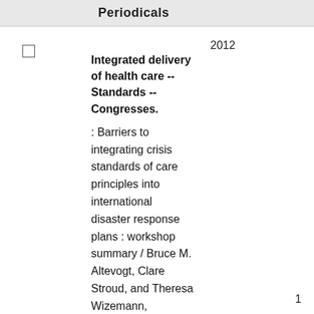Periodicals
Integrated delivery of health care -- Standards -- Congresses.
: Barriers to integrating crisis standards of care principles into international disaster response plans : workshop summary / Bruce M. Altevogt, Clare Stroud, and Theresa Wizemann, rapporteurs ; Forum on Medical and
2012
1